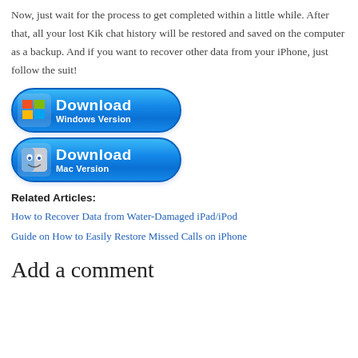Now, just wait for the process to get completed within a little while. After that, all your lost Kik chat history will be restored and saved on the computer as a backup. And if you want to recover other data from your iPhone, just follow the suit!
[Figure (illustration): Blue Download button for Windows Version with Windows logo]
[Figure (illustration): Blue Download button for Mac Version with Mac Finder logo]
Related Articles:
How to Recover Data from Water-Damaged iPad/iPod
Guide on How to Easily Restore Missed Calls on iPhone
Add a comment